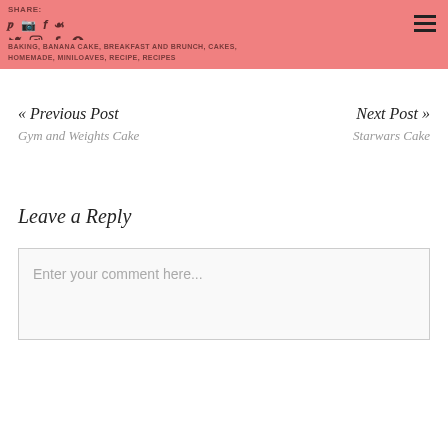SHARE: [social icons] BAKING, BANANA CAKE, BREAKFAST AND BRUNCH, CAKES, HOMEMADE, MINILOAVES, RECIPE, RECIPES
« Previous Post
Gym and Weights Cake
Next Post »
Starwars Cake
Leave a Reply
Enter your comment here...